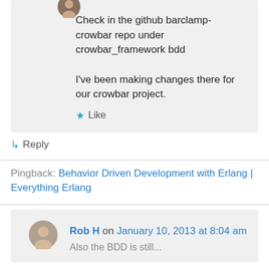Check in the github barclamp-crowbar repo under crowbar_framework bdd

I've been making changes there for our crowbar project.
★ Like
↳ Reply
Pingback: Behavior Driven Development with Erlang | Everything Erlang
Rob H on January 10, 2013 at 8:04 am